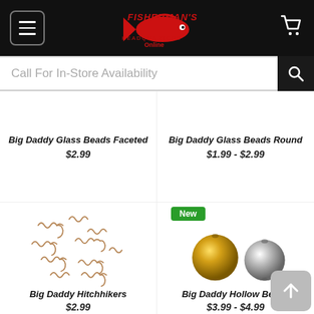Fisherman's Headquarters Online — header with hamburger menu and cart icon
Call For In-Store Availability
[Figure (photo): Product image area for Big Daddy Glass Beads Faceted (upper left, image cut off)]
Big Daddy Glass Beads Faceted
$2.99
[Figure (photo): Product image area for Big Daddy Glass Beads Round (upper right, image cut off)]
Big Daddy Glass Beads Round
$1.99 - $2.99
[Figure (photo): Photo of Big Daddy Hitchhikers fishing lures, scattered worm-shaped hooks on white background]
Big Daddy Hitchhikers
$2.99
[Figure (photo): Photo of Big Daddy Hollow Beads — one gold bead and one silver bead on white background, with New badge]
Big Daddy Hollow Beads
$3.99 - $4.99